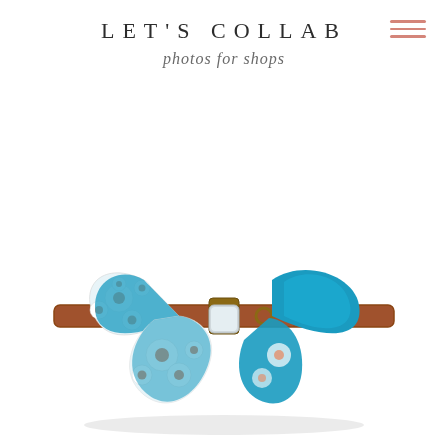LET'S COLLAB
photos for shops
[Figure (photo): A brown leather dog collar with a teal/blue floral bow tie featuring white cherry blossom flowers with orange centers, photographed on a white background]